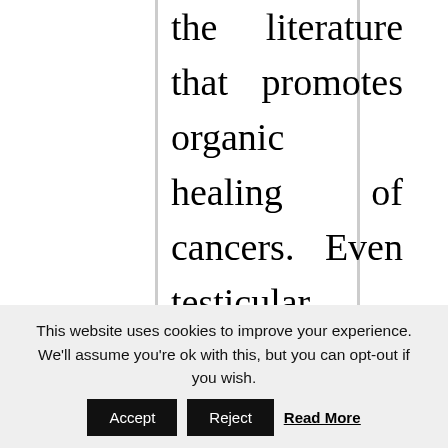the literature that promotes organic healing of cancers. Even testicular cancer sufferers will discover relief with organic solutions like the ones you present here. Thank you for sharing this information. If not Theranos, then some other company will profit from placing individuals
This website uses cookies to improve your experience. We'll assume you're ok with this, but you can opt-out if you wish. Accept Reject Read More